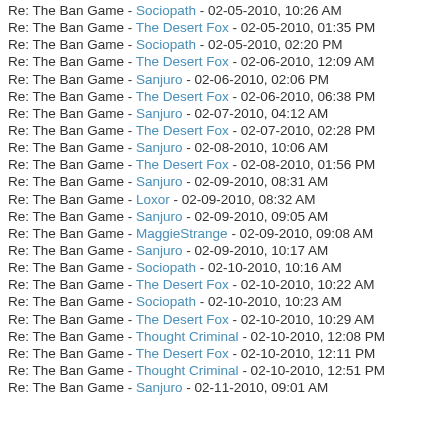Re: The Ban Game - Sociopath - 02-05-2010, 10:26 AM
Re: The Ban Game - The Desert Fox - 02-05-2010, 01:35 PM
Re: The Ban Game - Sociopath - 02-05-2010, 02:20 PM
Re: The Ban Game - The Desert Fox - 02-06-2010, 12:09 AM
Re: The Ban Game - Sanjuro - 02-06-2010, 02:06 PM
Re: The Ban Game - The Desert Fox - 02-06-2010, 06:38 PM
Re: The Ban Game - Sanjuro - 02-07-2010, 04:12 AM
Re: The Ban Game - The Desert Fox - 02-07-2010, 02:28 PM
Re: The Ban Game - Sanjuro - 02-08-2010, 10:06 AM
Re: The Ban Game - The Desert Fox - 02-08-2010, 01:56 PM
Re: The Ban Game - Sanjuro - 02-09-2010, 08:31 AM
Re: The Ban Game - Loxor - 02-09-2010, 08:32 AM
Re: The Ban Game - Sanjuro - 02-09-2010, 09:05 AM
Re: The Ban Game - MaggieStrange - 02-09-2010, 09:08 AM
Re: The Ban Game - Sanjuro - 02-09-2010, 10:17 AM
Re: The Ban Game - Sociopath - 02-10-2010, 10:16 AM
Re: The Ban Game - The Desert Fox - 02-10-2010, 10:22 AM
Re: The Ban Game - Sociopath - 02-10-2010, 10:23 AM
Re: The Ban Game - The Desert Fox - 02-10-2010, 10:29 AM
Re: The Ban Game - Thought Criminal - 02-10-2010, 12:08 PM
Re: The Ban Game - The Desert Fox - 02-10-2010, 12:11 PM
Re: The Ban Game - Thought Criminal - 02-10-2010, 12:51 PM
Re: The Ban Game - Sanjuro - 02-11-2010, 09:01 AM